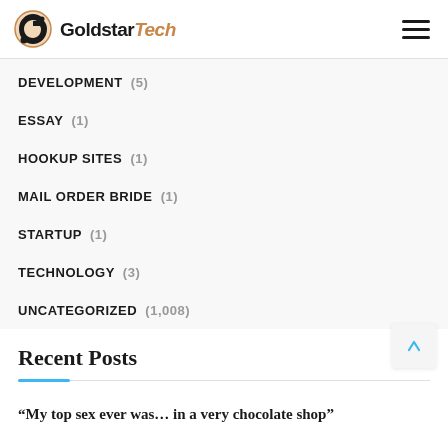GoldstarTech
DEVELOPMENT (5)
ESSAY (1)
HOOKUP SITES (1)
MAIL ORDER BRIDE (1)
STARTUP (1)
TECHNOLOGY (3)
UNCATEGORIZED (1,008)
Recent Posts
“My top sex ever was… in a very chocolate shop”